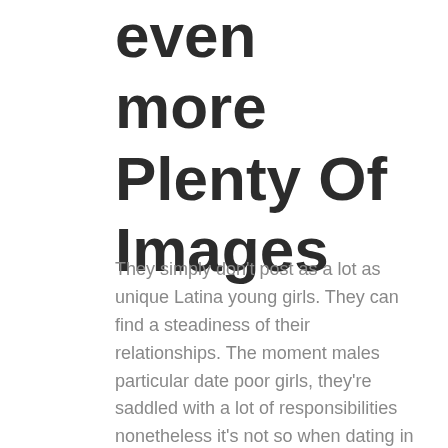even more Plenty Of Images
They simply don't post as a lot as unique Latina young girls. They can find a steadiness of their relationships. The moment males particular date poor girls, they're saddled with a lot of responsibilities nonetheless it's not so when dating in Chile. They then can be more within